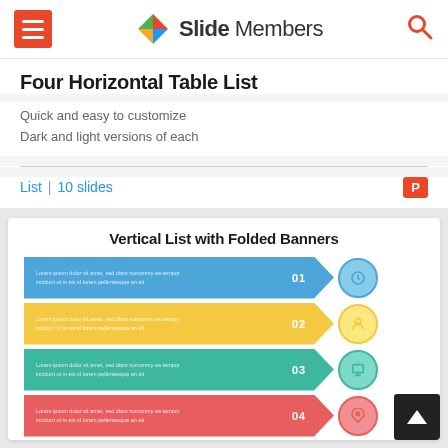Slide Members
Four Horizontal Table List
Quick and easy to customize
Dark and light versions of each
List  |  10 slides
[Figure (infographic): Preview of 'Vertical List with Folded Banners' infographic showing four colored horizontal folded ribbon banners (blue, yellow, teal, red) numbered 01-04 with placeholder Lorem Ipsum text and circular icons on the right end of each banner.]